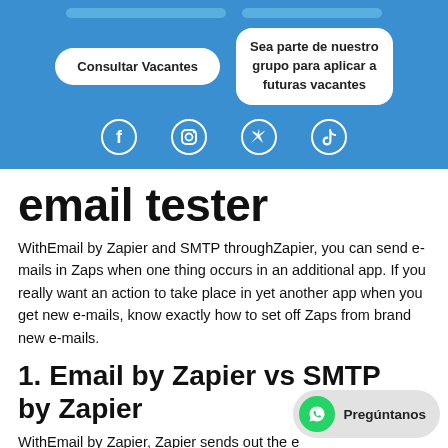[Figure (infographic): Blue banner with two buttons: 'Consultar Vacantes' and 'Sea parte de nuestro grupo para aplicar a futuras vacantes', plus four social media icons (Facebook, Instagram, Twitter, TikTok)]
email tester
WithEmail by Zapier and SMTP throughZapier, you can send e-mails in Zaps when one thing occurs in an additional app. If you really want an action to take place in yet another app when you get new e-mails, know exactly how to set off Zaps from brand new e-mails.
1. Email by Zapier vs SMTP by Zapier
WithEmail by Zapier, Zapier sends out the e...
[Figure (infographic): WhatsApp chat button with green WhatsApp icon and label 'Pregúntanos']